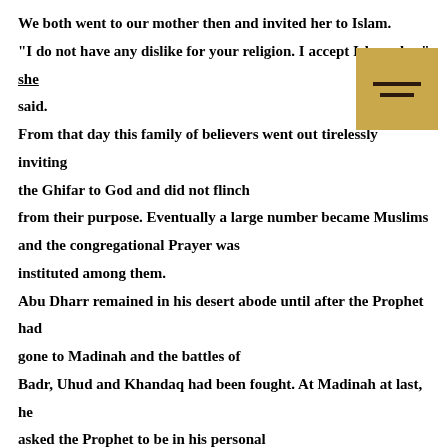We both went to our mother then and invited her to Islam. "I do not have any dislike for your religion. I accept Islam also," she said. From that day this family of believers went out tirelessly inviting the Ghifar to God and did not flinch from their purpose. Eventually a large number became Muslims and the congregational Prayer was instituted among them. Abu Dharr remained in his desert abode until after the Prophet had gone to Madinah and the battles of Badr, Uhud and Khandaq had been fought. At Madinah at last, he asked the Prophet to be in his personal service. The Prophet agreed and was pleased with his companionship and service. He sometimes showed preference to Abu Dharr above others and whenever he met him he
[Figure (other): A tan/gold colored box with two horizontal dark brown lines (menu/hamburger icon style)]